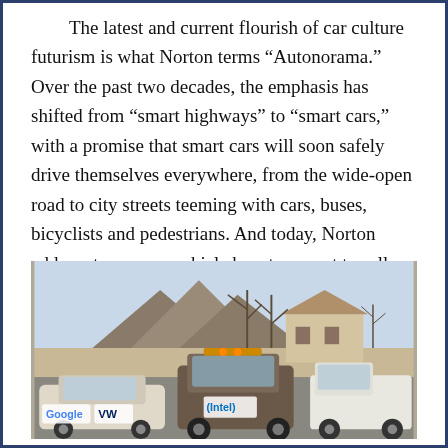The latest and current flourish of car culture futurism is what Norton terms “Autonorama.” Over the past two decades, the emphasis has shifted from “smart highways” to “smart cars,” with a promise that smart cars will soon safely drive themselves everywhere, from the wide-open road to city streets teeming with cars, buses, bicyclists and pedestrians. And today, Norton adds, autonomous vehicle boosters want to sell not just new cars and new roads, but also new data.
[Figure (photo): Photograph of autonomous vehicles including a Google-branded car and a VW vehicle with an Intel sponsorship, parked on a road in a desert suburban setting with mountains and bare trees in the background.]